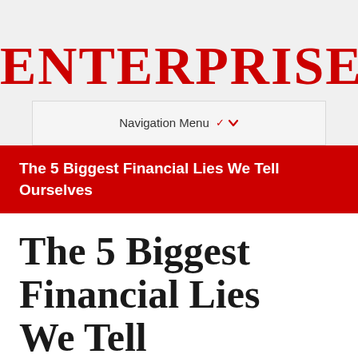ENTERPRISE
Navigation Menu ▾
The 5 Biggest Financial Lies We Tell Ourselves
The 5 Biggest Financial Lies We Tell